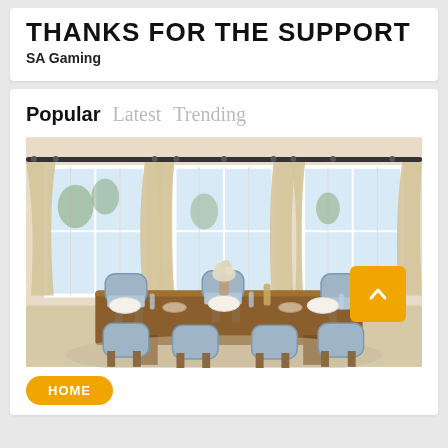THANKS FOR THE SUPPORT
SA Gaming
Popular  Latest  Trending
[Figure (photo): Interior dining room photo showing a long wooden dining table surrounded by blue wicker/rattan bistro chairs, set for a meal with plates, glasses and a floral centerpiece. Three large windows with beige linen drape curtains in the background. Natural light fills the room.]
HOME